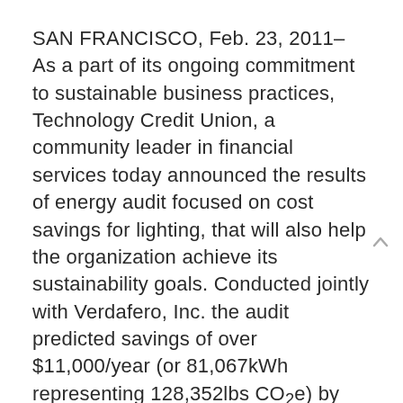SAN FRANCISCO, Feb. 23, 2011– As a part of its ongoing commitment to sustainable business practices, Technology Credit Union, a community leader in financial services today announced the results of energy audit focused on cost savings for lighting, that will also help the organization achieve its sustainability goals. Conducted jointly with Verdafero, Inc. the audit predicted savings of over $11,000/year (or 81,067kWh representing 128,352lbs CO2e) by implementing occupancy sensors and updating inefficient light bulbs.
Casey McBrian, VP of Facilities for Technology Credit Union, said: “As a